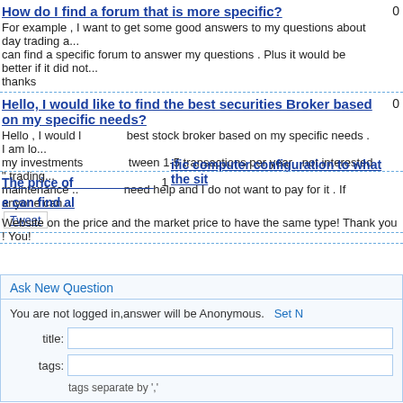How do I find a forum that is more specific?
For example , I want to get some good answers to my questions about day trading a... can find a specific forum to answer my questions . Plus it would be better if it did not... thanks
Hello, I would like to find the best securities Broker based on my specific needs?
Hello , I would l... best stock broker based on my specific needs . I am lo... my investments... tween 1-5 transactions per year , not interested " trading... maintenance .. need help and I do not want to pay for it . If anyone can...
The price of ... ific computer configuration to what the sit... e can find al
Website on the price and the market price to have the same type! Thank you ! You!
Ask New Question
You are not logged in,answer will be Anonymous.   Set N
title:
tags:
tags separate by ','